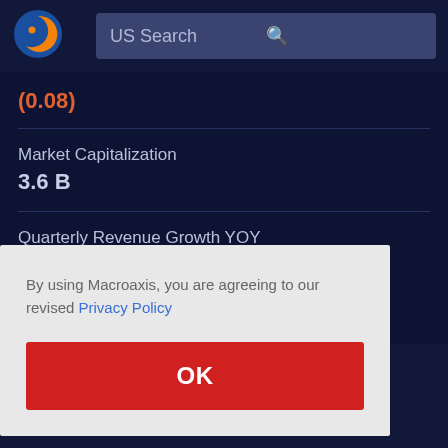[Figure (logo): Macroaxis globe logo — blue circle with orange crescent and dot]
US Search
(0.08)
Market Capitalization
3.6 B
Quarterly Revenue Growth YOY
By using Macroaxis, you are agreeing to our revised Privacy Policy
OK